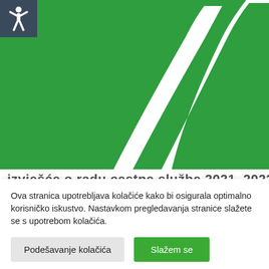[Figure (illustration): Green highway/road logo graphic with white curved road markings on a green background, partially cropped. Accessibility icon (white figure with raised arms) in a dark grey/navy square in the upper left corner.]
Ova stranica upotrebljava kolačiće kako bi osigurala optimalno korisničko iskustvo. Nastavkom pregledavanja stranice slažete se s upotrebom kolačića.
Podešavanje kolačića
Slažem se